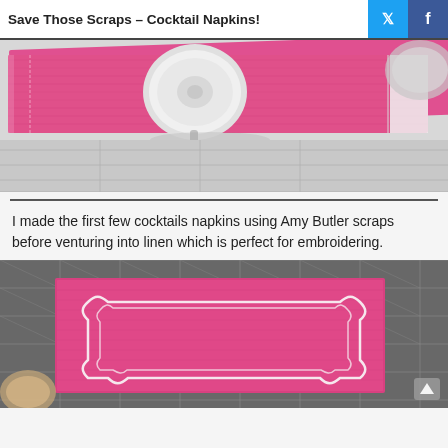Save Those Scraps – Cocktail Napkins!
[Figure (photo): Close-up photo of a pink fabric napkin with frayed edges and a round white device (possibly a bobbin winder or tool) on top, on a white surface.]
I made the first few cocktails napkins using Amy Butler scraps before venturing into linen which is perfect for embroidering.
[Figure (photo): Photo of a pink embroidered cocktail napkin with a decorative stitched frame border, placed on a quilting/cutting mat grid.]